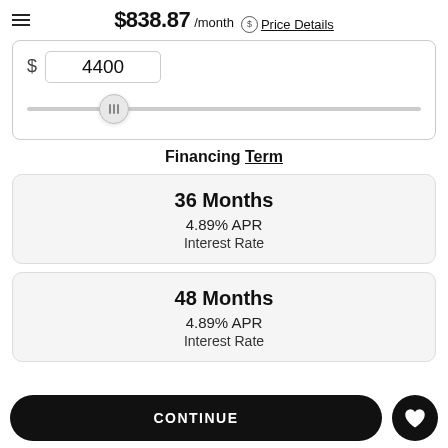$838.87 /month  Price Details
[Figure (other): Down payment input field showing '$  4400' with a horizontal slider control below it, thumb positioned near left side]
Financing Term
36 Months
4.89% APR
Interest Rate
48 Months
4.89% APR
Interest Rate
CONTINUE